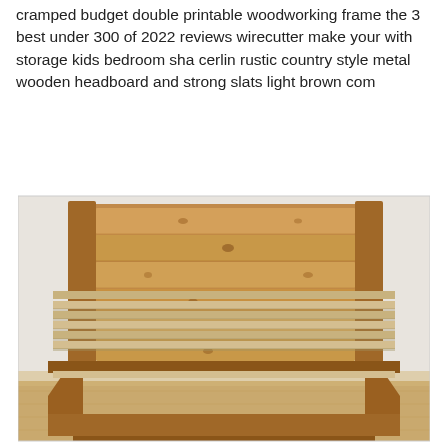cramped budget double printable woodworking frame the 3 best under 300 of 2022 reviews wirecutter make your with storage kids bedroom sha cerlin rustic country style metal wooden headboard and strong slats light brown com
[Figure (photo): A wooden bed frame with a solid slatted headboard made of natural light-brown pine/cedar planks with visible wood knots, and an open slatted base showing multiple horizontal slats. The bed sits on a light hardwood floor against a white/light grey wall.]